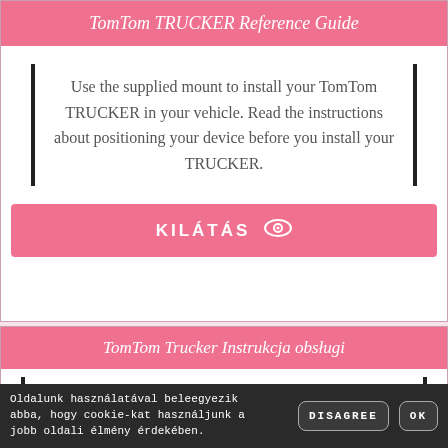TomTom TRUCKER Reference Guide
Use the supplied mount to install your TomTom TRUCKER in your vehicle. Read the instructions about positioning your device before you install your TRUCKER.
KILÁTÁS 👁
TomTom Trucker Instrukcja obsługi
Uwaga: informacje o ruchu drogowym są dostępne
Oldalunk használatával beleegyezik abba, hogy cookie-kat használjunk a jobb oldali élmény érdekében. DISAGREE OK